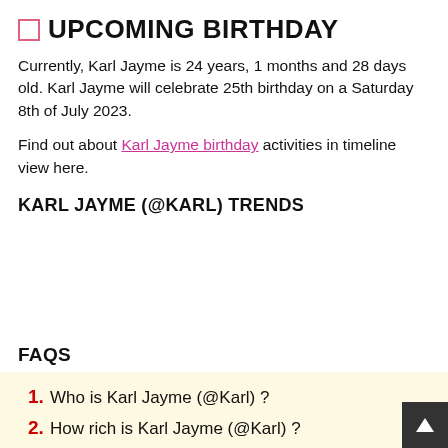🗓 UPCOMING BIRTHDAY
Currently, Karl Jayme is 24 years, 1 months and 28 days old. Karl Jayme will celebrate 25th birthday on a Saturday 8th of July 2023.
Find out about Karl Jayme birthday activities in timeline view here.
KARL JAYME (@KARL) TRENDS
FAQS
1. Who is Karl Jayme (@Karl) ?
2. How rich is Karl Jayme (@Karl) ?
3. What is Karl Jayme (@Karl) 's salary?